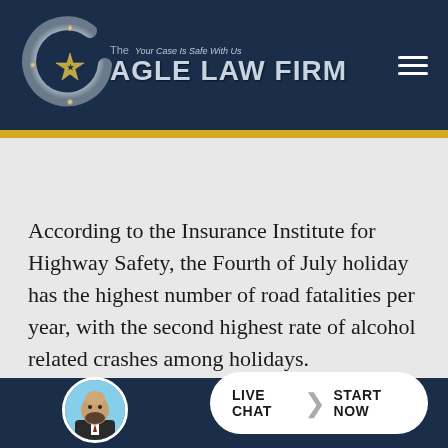[Figure (logo): The Cagle Law Firm logo with metallic C shape and text 'Your Case Is Safe With Us']
According to the Insurance Institute for Highway Safety, the Fourth of July holiday has the highest number of road fatalities per year, with the second highest rate of alcohol related crashes among holidays.  Approximately, 41 percent of deaths of the 4th of July weekend involved high BAC
[Figure (photo): Live Chat button with attorney photo avatar - LIVE CHAT > START NOW]